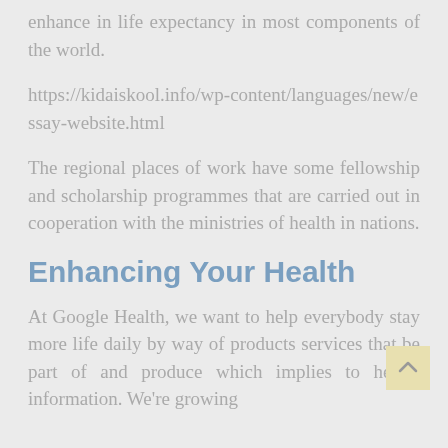enhance in life expectancy in most components of the world.
https://kidaiskool.info/wp-content/languages/new/essay-website.html
The regional places of work have some fellowship and scholarship programmes that are carried out in cooperation with the ministries of health in nations.
Enhancing Your Health
At Google Health, we want to help everybody stay more life daily by way of products services that be part of and produce which implies to health information. We're growing